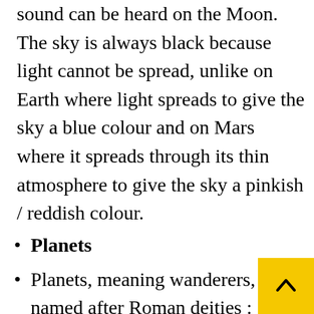sound can be heard on the Moon. The sky is always black because light cannot be spread, unlike on Earth where light spreads to give the sky a blue colour and on Mars where it spreads through its thin atmosphere to give the sky a pinkish / reddish colour.
Planets
Planets, meaning wanderers, a named after Roman deities :